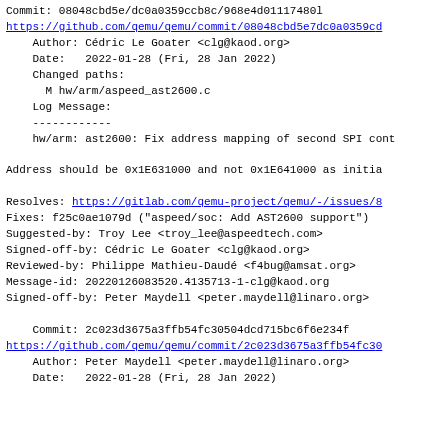Commit: 08048cbd5e/dc0a0359ccb8c/968e4d01117480l
https://github.com/qemu/qemu/commit/08048cbd5e7dc0a0359c...
Author: Cédric Le Goater <clg@kaod.org>
    Date:   2022-01-28 (Fri, 28 Jan 2022)
Changed paths:
      M hw/arm/aspeed_ast2600.c
Log Message:
    ------------
    hw/arm: ast2600: Fix address mapping of second SPI cont...
Address should be 0x1E631000 and not 0x1E641000 as initia...
Resolves: https://gitlab.com/qemu-project/qemu/-/issues/8...
Fixes: f25c0ae1079d ("aspeed/soc: Add AST2600 support")
Suggested-by: Troy Lee <troy_lee@aspeedtech.com>
Signed-off-by: Cédric Le Goater <clg@kaod.org>
Reviewed-by: Philippe Mathieu-Daudé <f4bug@amsat.org>
Message-id: 20220126083520.4135713-1-clg@kaod.org
Signed-off-by: Peter Maydell <peter.maydell@linaro.org>
Commit: 2c023d3675a3ffb54fc30504dcd715bc6f6e234f
https://github.com/qemu/qemu/commit/2c023d3675a3ffb54fc30...
Author: Peter Maydell <peter.maydell@linaro.org>
    Date:   2022-01-28 (Fri, 28 Jan 2022)